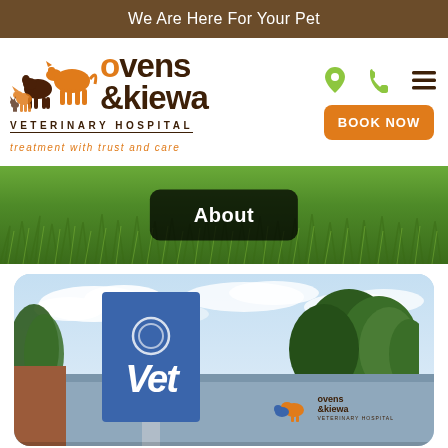We Are Here For Your Pet
[Figure (logo): Ovens & Kiewa Veterinary Hospital logo with animal silhouettes (horse, pig, dog, cat), brand name in brown and orange, tagline 'treatment with trust and care']
[Figure (screenshot): Navigation icons: location pin, phone, hamburger menu in lime green/dark colors, and orange 'BOOK NOW' button]
[Figure (photo): Green grass background with dark 'About' button overlay in center]
[Figure (photo): Exterior photo of Ovens & Kiewa Veterinary Hospital building showing large blue 'Vet' sign on pole, building facade with hospital logo, trees in background, against partly cloudy sky]